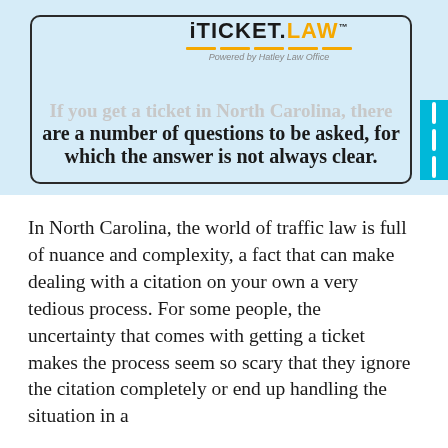[Figure (logo): iTICKET.LAW logo with gold underline bars and 'Powered by Hatley Law Office' tagline]
If you get a ticket in North Carolina, there are a number of questions to be asked, for which the answer is not always clear.
In North Carolina, the world of traffic law is full of nuance and complexity, a fact that can make dealing with a citation on your own a very tedious process. For some people, the uncertainty that comes with getting a ticket makes the process seem so scary that they ignore the citation completely or end up handling the situation in a